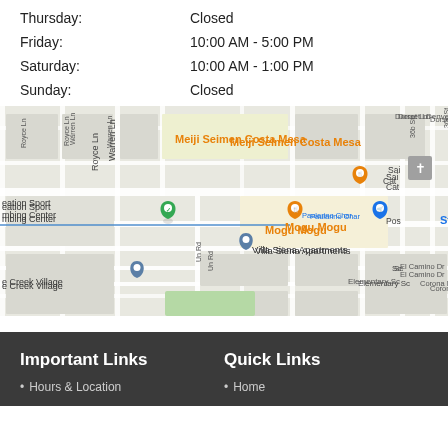Thursday: Closed
Friday: 10:00 AM - 5:00 PM
Saturday: 10:00 AM - 1:00 PM
Sunday: Closed
[Figure (map): Google Maps screenshot showing area near Costa Mesa with markers for Meiji Seimen Costa Mesa, Mogu Mogu, Stater Bros. Markets, Villa Siena Apartments, and other nearby locations including streets like Baker St, Mission Dr, El Camino Dr, Corona Ln, Dorset Ln, Paularino Char, and nearby landmarks.]
Important Links
Quick Links
Hours & Location
Home